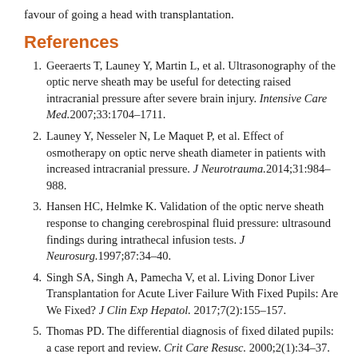favour of going a head with transplantation.
References
Geeraerts T, Launey Y, Martin L, et al. Ultrasonography of the optic nerve sheath may be useful for detecting raised intracranial pressure after severe brain injury. Intensive Care Med.2007;33:1704–1711.
Launey Y, Nesseler N, Le Maquet P, et al. Effect of osmotherapy on optic nerve sheath diameter in patients with increased intracranial pressure. J Neurotrauma.2014;31:984–988.
Hansen HC, Helmke K. Validation of the optic nerve sheath response to changing cerebrospinal fluid pressure: ultrasound findings during intrathecal infusion tests. J Neurosurg.1997;87:34–40.
Singh SA, Singh A, Pamecha V, et al. Living Donor Liver Transplantation for Acute Liver Failure With Fixed Pupils: Are We Fixed? J Clin Exp Hepatol. 2017;7(2):155–157.
Thomas PD. The differential diagnosis of fixed dilated pupils: a case report and review. Crit Care Resusc. 2000;2(1):34–37.
Coad NR, Byrne AJ. Guillain–Barre Syndrome mimicking brain stem death. 1990;45:456–457.